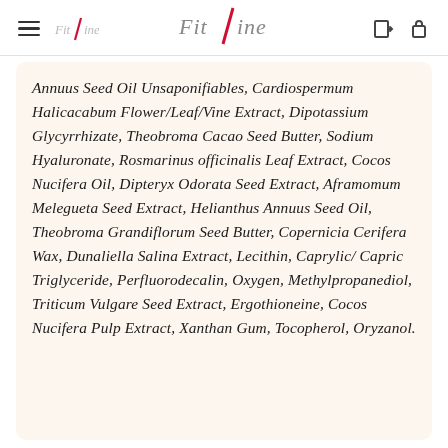FitLine
Annuus Seed Oil Unsaponifiables, Cardiospermum Halicacabum Flower/Leaf/Vine Extract, Dipotassium Glycyrrhizate, Theobroma Cacao Seed Butter, Sodium Hyaluronate, Rosmarinus officinalis Leaf Extract, Cocos Nucifera Oil, Dipteryx Odorata Seed Extract, Aframomum Melegueta Seed Extract, Helianthus Annuus Seed Oil, Theobroma Grandiflorum Seed Butter, Copernicia Cerifera Wax, Dunaliella Salina Extract, Lecithin, Caprylic/ Capric Triglyceride, Perfluorodecalin, Oxygen, Methylpropanediol, Triticum Vulgare Seed Extract, Ergothioneine, Cocos Nucifera Pulp Extract, Xanthan Gum, Tocopherol, Oryzanol.